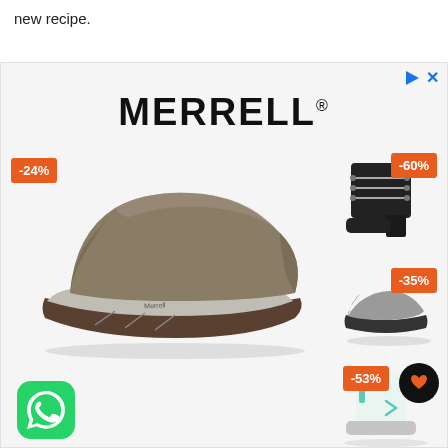new recipe.
[Figure (screenshot): Merrell shoe advertisement banner showing a large taupe/khaki leather clog shoe with -24% discount badge, three smaller shoes on the right side with -60%, -35%, and -53% discount badges, a heart/wishlist button, and a WhatsApp icon in the bottom left. The Merrell brand logo is displayed prominently at the top center.]